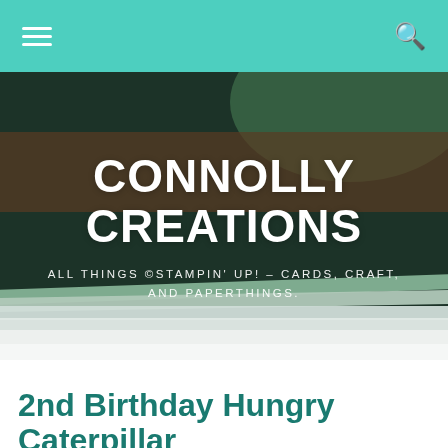Navigation bar with hamburger menu and search icon
[Figure (photo): Hero banner image showing stacked crafting papers/cardstock with dark overlay background, green and earthy tones]
CONNOLLY CREATIONS
ALL THINGS ©STAMPIN' UP! – CARDS, CRAFT, AND PAPERTHINGS.
2nd Birthday Hungry Caterpillar